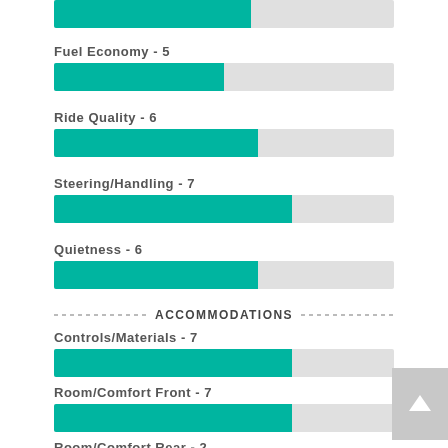[Figure (bar-chart): Vehicle Ratings]
ACCOMMODATIONS